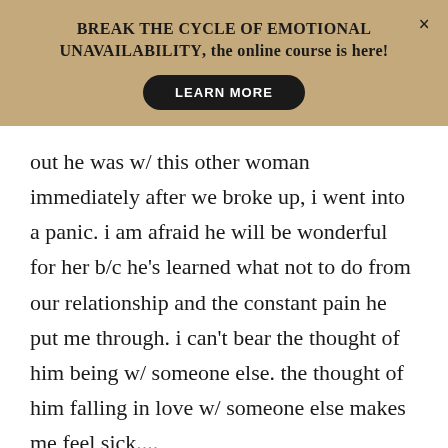BREAK THE CYCLE OF EMOTIONAL UNAVAILABILITY, the online course is here!
LEARN MORE
out he was w/ this other woman immediately after we broke up, i went into a panic. i am afraid he will be wonderful for her b/c he's learned what not to do from our relationship and the constant pain he put me through. i can't bear the thought of him being w/ someone else. the thought of him falling in love w/ someone else makes me feel sick....